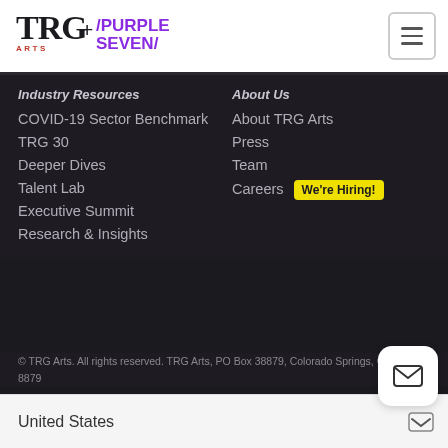TRG Arts + Purple Seven [logo header with menu button]
Industry Resources
COVID-19 Sector Benchmark
TRG 30
Deeper Dives
Talent Lab
Executive Summit
Research & Insights
About Us
About TRG Arts
Press
Team
Careers  We're Hiring!
© TRG Arts. All rights reserved. TRG Arts, PO Box 38879, Colorado Springs, CO 80937-8879
United States